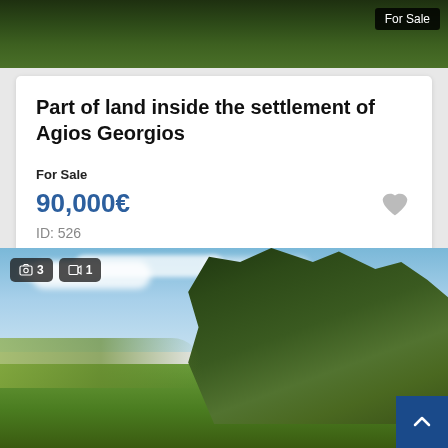[Figure (photo): Aerial/landscape view of land with dark green vegetation at top, 'For Sale' badge in upper right corner]
Part of land inside the settlement of Agios Georgios
For Sale
90,000€
ID: 526
[Figure (photo): Landscape photo showing open land with blue cloudy sky, green trees on right side, and a blue vegetation hillside. Camera badge showing 3 photos and video badge showing 1 video. Scroll-up button in bottom right corner.]